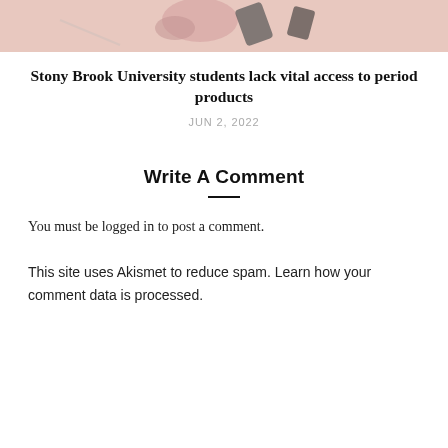[Figure (photo): Partial image with pink/rose background showing what appear to be period products or related items at the top of the page]
Stony Brook University students lack vital access to period products
JUN 2, 2022
Write A Comment
You must be logged in to post a comment.
This site uses Akismet to reduce spam. Learn how your comment data is processed.